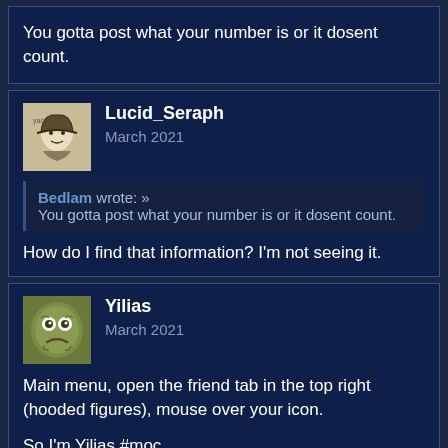You gotta post what your number is or it dosent count.
Lucid_Seraph
March 2021
Bedlam wrote: » You gotta post what your number is or it dosent count.
How do I find that information? I'm not seeing it.
Yilias
March 2021
Main menu, open the friend tab in the top right (hooded figures), mouse over your icon.

So I'm Yilias #moc.